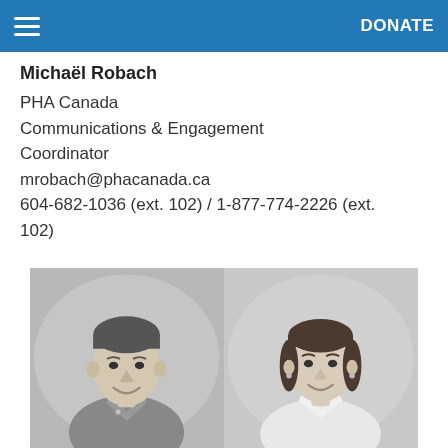DONATE
Michaël Robach
PHA Canada
Communications & Engagement
Coordinator
mrobach@phacanada.ca
604-682-1036 (ext. 102) / 1-877-774-2226 (ext. 102)
[Figure (photo): Two black and white portrait photos side by side: a man smiling on the left wearing a polo shirt with a pin, and a woman smiling on the right wearing a white cardigan.]